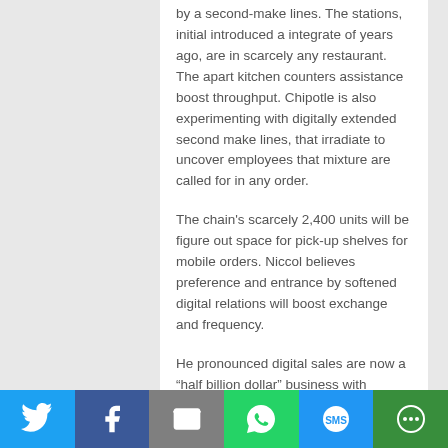by a second-make lines. The stations, initial introduced a integrate of years ago, are in scarcely any restaurant. The apart kitchen counters assistance boost throughput. Chipotle is also experimenting with digitally extended second make lines, that irradiate to uncover employees that mixture are called for in any order.
The chain's scarcely 2,400 units will be figure out space for pick-up shelves for mobile orders. Niccol believes preference and entrance by softened digital relations will boost exchange and frequency.
He pronounced digital sales are now a “half billion dollar” business with probably no selling plan to foster it. By augmenting awareness, Niccol pronounced “we consider this can be a multi-billion opportunity.”
On a menu front, rambling menu launches will be scrapped. While menu creation is crucial, Niccol pronounced equipment won’t burl out nationally but
[Figure (other): Social media sharing bar with Twitter, Facebook, Email, WhatsApp, SMS, and More buttons]